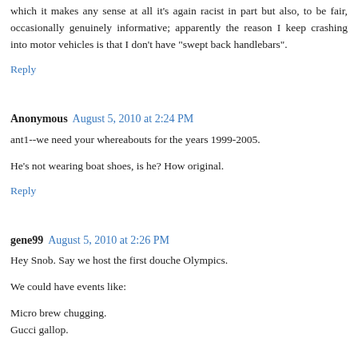which it makes any sense at all it's again racist in part but also, to be fair, occasionally genuinely informative; apparently the reason I keep crashing into motor vehicles is that I don't have "swept back handlebars".
Reply
Anonymous  August 5, 2010 at 2:24 PM
ant1--we need your whereabouts for the years 1999-2005.
He's not wearing boat shoes, is he? How original.
Reply
gene99  August 5, 2010 at 2:26 PM
Hey Snob. Say we host the first douche Olympics.
We could have events like:
Micro brew chugging.
Gucci gallop.